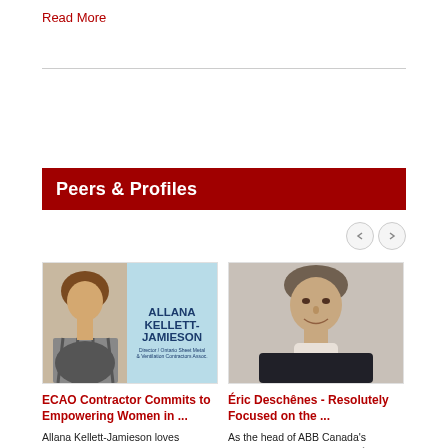Read More
Peers & Profiles
[Figure (photo): Photo of Allana Kellett-Jamieson with blue background and name text]
ECAO Contractor Commits to Empowering Women in ...
Allana Kellett-Jamieson loves working in the electrical sector and is proud of the great focus ...
Read More...
[Figure (photo): Headshot photo of Éric Deschênes in dark suit]
Éric Deschênes - Resolutely Focused on the ...
As the head of ABB Canada's electrification business unit, Éric Deschênes is no newcomer to the ...
Read More...